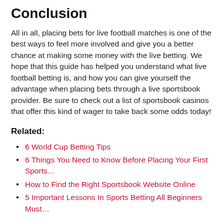Conclusion
All in all, placing bets for live football matches is one of the best ways to feel more involved and give you a better chance at making some money with the live betting. We hope that this guide has helped you understand what live football betting is, and how you can give yourself the advantage when placing bets through a live sportsbook provider. Be sure to check out a list of sportsbook casinos that offer this kind of wager to take back some odds today!
Related:
6 World Cup Betting Tips
6 Things You Need to Know Before Placing Your First Sports…
How to Find the Right Sportsbook Website Online
5 Important Lessons In Sports Betting All Beginners Must…